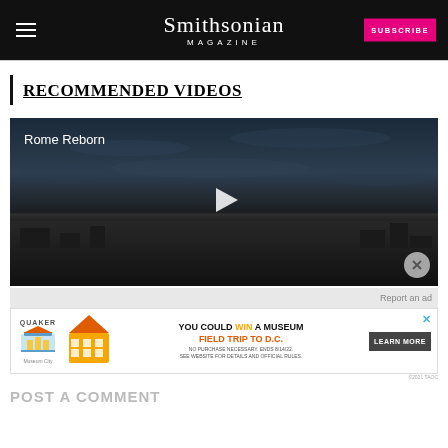Smithsonian Magazine | SUBSCRIBE
RECOMMENDED VIDEOS
[Figure (screenshot): Video thumbnail for 'Rome Reborn' showing dark aerial view of ancient Rome with a play button overlay]
[Figure (photo): Quaker advertisement: YOU COULD WIN A MUSEUM FIELD TRIP TO D.C. - LEARN MORE - No purchase necessary. Ends 8/14/22. See website for details and official rules.]
POST A COMMENT